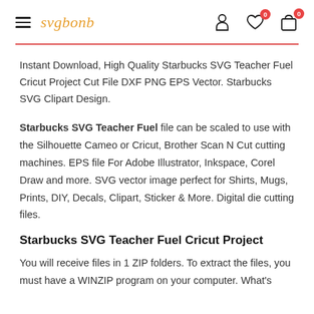svgbonb
Instant Download, High Quality Starbucks SVG Teacher Fuel Cricut Project Cut File DXF PNG EPS Vector. Starbucks SVG Clipart Design.
Starbucks SVG Teacher Fuel file can be scaled to use with the Silhouette Cameo or Cricut, Brother Scan N Cut cutting machines. EPS file For Adobe Illustrator, Inkspace, Corel Draw and more. SVG vector image perfect for Shirts, Mugs, Prints, DIY, Decals, Clipart, Sticker & More. Digital die cutting files.
Starbucks SVG Teacher Fuel Cricut Project
You will receive files in 1 ZIP folders. To extract the files, you must have a WINZIP program on your computer. What's